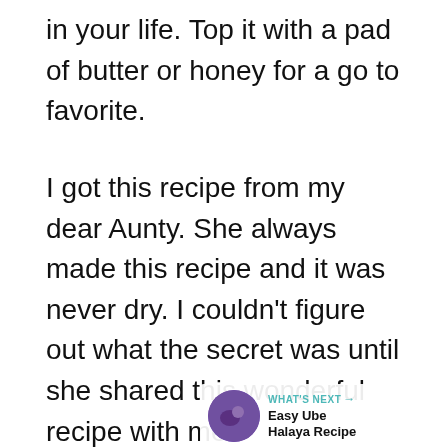in your life. Top it with a pad of butter or honey for a go to favorite.
I got this recipe from my dear Aunty. She always made this recipe and it was never dry. I couldn’t figure out what the secret was until she shared this wonderful recipe with me.
[Figure (photo): Blurred photo of baked goods or food items in containers, partially visible at the bottom of the page. On-page UI overlays: a teal heart/like button, share button, count 376, and a 'What's Next' banner showing 'Easy Ube Halaya Recipe'.]